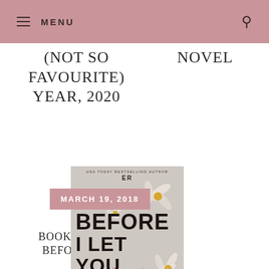MENU
(NOT SO FAVOURITE) YEAR, 2020
NOVEL
MARCH 19, 2018
[Figure (photo): Book cover of 'Before I Let You Go' - a novel with flowers (pink/purple cosmos) on a grey/white background, bold black title text]
BOOK REVIEW: BEFORE I LET